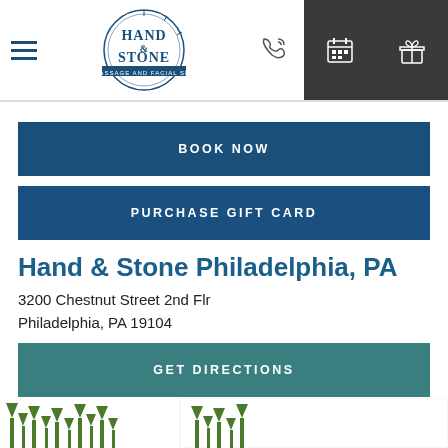[Figure (screenshot): Hand & Stone Massage and Facial Spa navigation bar with logo, phone icon, calendar icon, and gift icon]
BOOK NOW
PURCHASE GIFT CARD
Hand & Stone Philadelphia, PA
3200 Chestnut Street 2nd Flr
Philadelphia, PA 19104
GET DIRECTIONS
[Figure (illustration): Partial decorative grass/plant illustration at bottom of page]